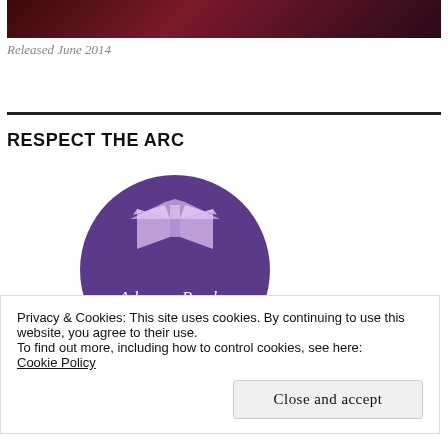[Figure (photo): Dark reddish/maroon banner image at top of page]
Released June 2014
RESPECT THE ARC
[Figure (logo): Circular purple badge with open book graphic and text 'Advance Reader Copy Not For Resale']
Privacy & Cookies: This site uses cookies. By continuing to use this website, you agree to their use.
To find out more, including how to control cookies, see here: Cookie Policy
Close and accept